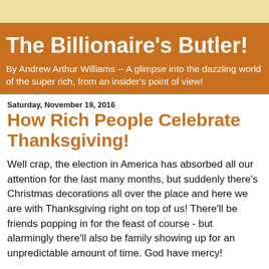The Billionaire's Butler!
By Andrew Arthur Williams -- A glimpse into the dazzling world of the super rich, from an insider's point of view!
Saturday, November 19, 2016
How Rich People Celebrate Thanksgiving!
Well crap, the election in America has absorbed all our attention for the last many months, but suddenly there's Christmas decorations all over the place and here we are with Thanksgiving right on top of us! There'll be friends popping in for the feast of course - but alarmingly there'll also be family showing up for an unpredictable amount of time. God have mercy!